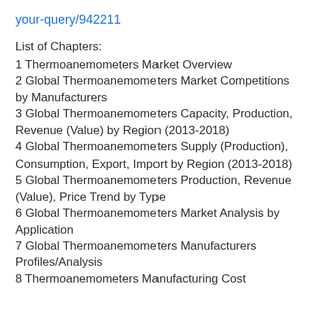your-query/942211
List of Chapters:
1 Thermoanemometers Market Overview
2 Global Thermoanemometers Market Competitions by Manufacturers
3 Global Thermoanemometers Capacity, Production, Revenue (Value) by Region (2013-2018)
4 Global Thermoanemometers Supply (Production), Consumption, Export, Import by Region (2013-2018)
5 Global Thermoanemometers Production, Revenue (Value), Price Trend by Type
6 Global Thermoanemometers Market Analysis by Application
7 Global Thermoanemometers Manufacturers Profiles/Analysis
8 Thermoanemometers Manufacturing Cost